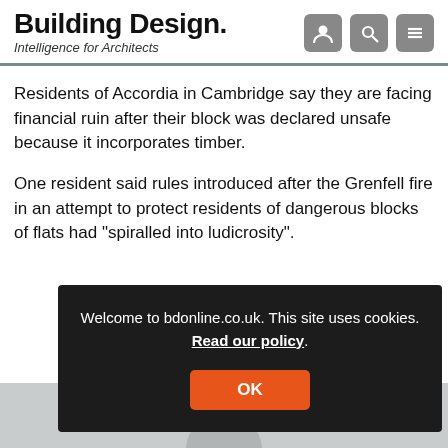Building Design. Intelligence for Architects
Residents of Accordia in Cambridge say they are facing financial ruin after their block was declared unsafe because it incorporates timber.
One resident said rules introduced after the Grenfell fire in an attempt to protect residents of dangerous blocks of flats had “spiralled into ludicrosity”.
[Figure (screenshot): Cookie consent banner on bdonline.co.uk with dark background, text reading 'Welcome to bdonline.co.uk. This site uses cookies. Read our policy.' and an orange OK button.]